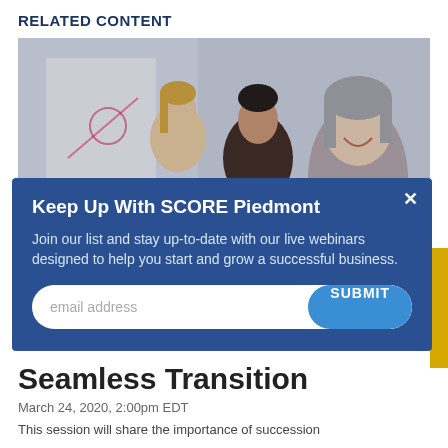RELATED CONTENT
[Figure (photo): Three women in a business meeting setting, one older woman smiling in foreground, whiteboard/flip chart in background]
Keep Up With SCORE Piedmont
Join our list and stay up-to-date with our live webinars designed to help you start and grow a successful business.
[email address] SUBMIT
Seamless Transition
March 24, 2020, 2:00pm EDT
This session will share the importance of succession